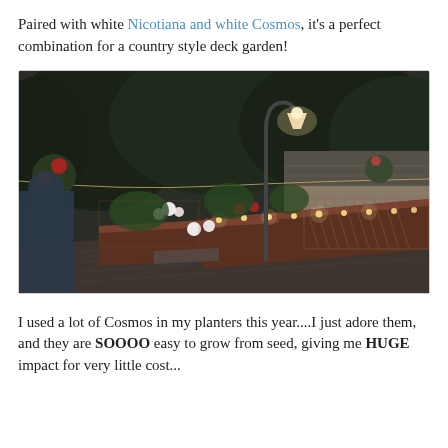Paired with white Nicotiana and white Cosmos, it's a perfect combination for a country style deck garden!
[Figure (photo): Evening photo of a country style deck garden with string lights, raised planter boxes filled with flowers and plants, a metal shepherd's hook lamp, lattice fencing, and a house with dark siding in the background surrounded by trees.]
I used a lot of Cosmos in my planters this year....I just adore them, and they are SOOOO easy to grow from seed, giving me HUGE impact for very little cost...